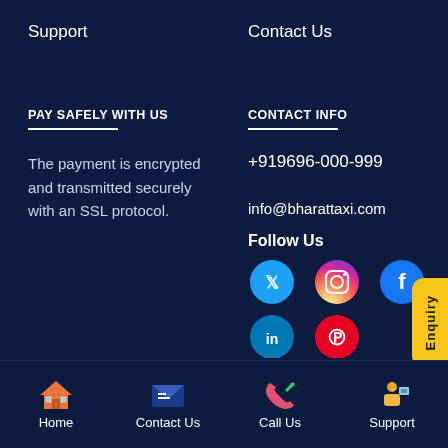Support
Contact Us
PAY SAFELY WITH US
CONTACT INFO
The payment is encrypted and transmitted securely with an SSL protocol.
+919696-000-999
info@bharattaxi.com
Follow Us
[Figure (infographic): Social media icons: Twitter (blue circle), Instagram (purple circle), Facebook (blue circle), LinkedIn (blue circle), Pinterest (red circle)]
[Figure (infographic): Yellow enquiry tab on the right side]
Home | Contact Us | Call Us | Support